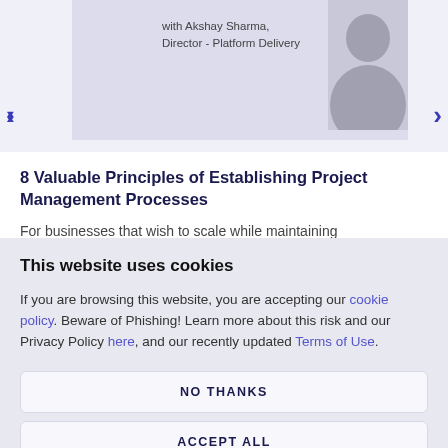[Figure (illustration): Website screenshot showing a banner image with a person (Akshay Sharma, Director - Platform Delivery) and navigation arrows on either side]
with Akshay Sharma,
Director - Platform Delivery
8 Valuable Principles of Establishing Project Management Processes
For businesses that wish to scale while maintaining
This website uses cookies
If you are browsing this website, you are accepting our cookie policy. Beware of Phishing! Learn more about this risk and our Privacy Policy here, and our recently updated Terms of Use.
NO THANKS
ACCEPT ALL
MANAGE